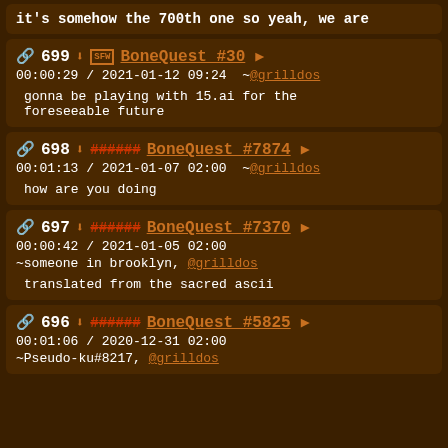it's somehow the 700th one so yeah, we are
699 | BoneQuest #30 | 00:00:29 / 2021-01-12 09:24 ~@grilldos | gonna be playing with 15.ai for the foreseeable future
698 | [tag] BoneQuest #7874 | 00:01:13 / 2021-01-07 02:00 ~@grilldos | how are you doing
697 | [tag] BoneQuest #7370 | 00:00:42 / 2021-01-05 02:00 ~someone in brooklyn, @grilldos | translated from the sacred ascii
696 | [tag] BoneQuest #5825 | 00:01:06 / 2020-12-31 02:00 ~Pseudo-ku#8217, @grilldos